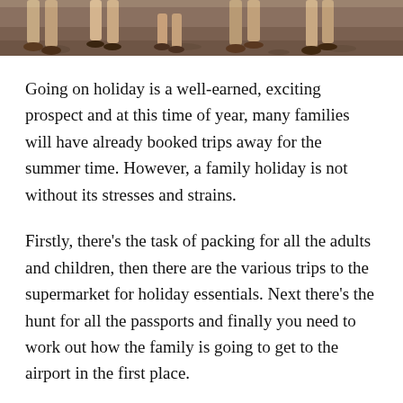[Figure (photo): Cropped photo showing the lower legs and feet of multiple people (adults and children) standing on a rocky or sandy outdoor surface, viewed from above.]
Going on holiday is a well-earned, exciting prospect and at this time of year, many families will have already booked trips away for the summer time. However, a family holiday is not without its stresses and strains.
Firstly, there’s the task of packing for all the adults and children, then there are the various trips to the supermarket for holiday essentials. Next there’s the hunt for all the passports and finally you need to work out how the family is going to get to the airport in the first place.